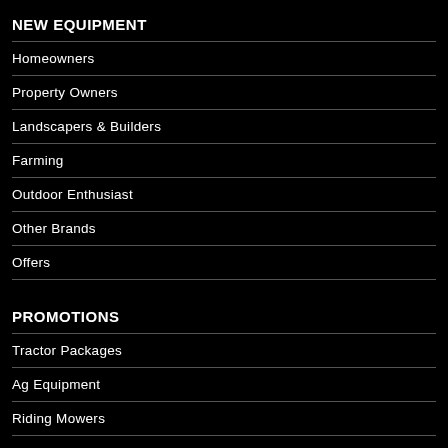NEW EQUIPMENT
Homeowners
Property Owners
Landscapers & Builders
Farming
Outdoor Enthusiast
Other Brands
Offers
PROMOTIONS
Tractor Packages
Ag Equipment
Riding Mowers
Gator UTV